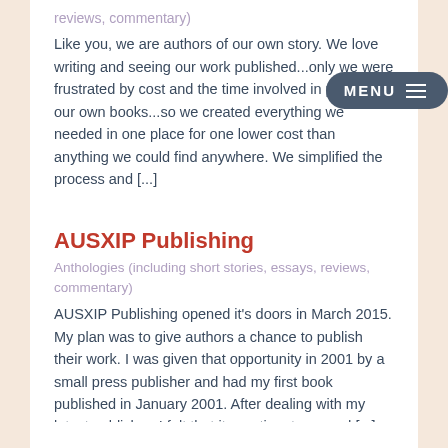reviews, commentary)
Like you, we are authors of our own story. We love writing and seeing our work published...only we were frustrated by cost and the time involved in promoting our own books...so we created everything we needed in one place for one lower cost than anything we could find anywhere. We simplified the process and [...]
AUSXIP Publishing
Anthologies (including short stories, essays, reviews, commentary)
AUSXIP Publishing opened it's doors in March 2015. My plan was to give authors a chance to publish their work. I was given that opportunity in 2001 by a small press publisher and had my first book published in January 2001. After dealing with my latest publisher, I felt that it was time to spread [...]